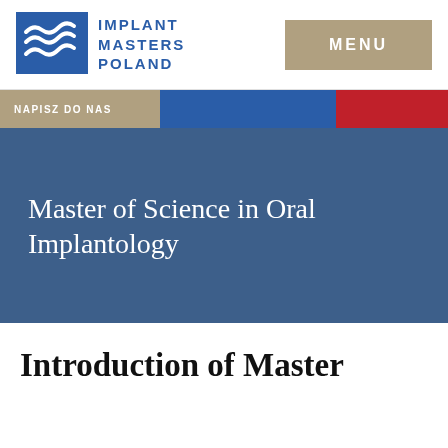[Figure (logo): Implant Masters Poland logo with blue square icon showing wave/implant lines and blue text reading IMPLANT MASTERS POLAND]
MENU
NAPISZ DO NAS
Master of Science in Oral Implantology
Introduction of Master